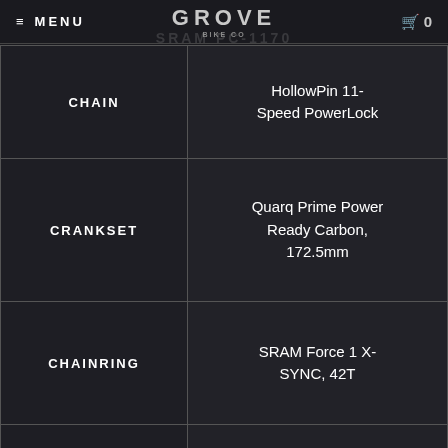≡ MENU | GROVE BIKE CO | 🛒 0
| Component | Specification |
| --- | --- |
| CHAIN | HollowPin 11-Speed PowerLock |
| CRANKSET | Quarq Prime Power Ready Carbon, 172.5mm |
| CHAINRING | SRAM Force 1 X-SYNC, 42T |
| BOTTOM BRACKET | SRAM PressFit GXP |
| CASSETTE | Sunrace RX8 11-Speed, 11-42T, 11-36T for Cyclocross Wheel Option |